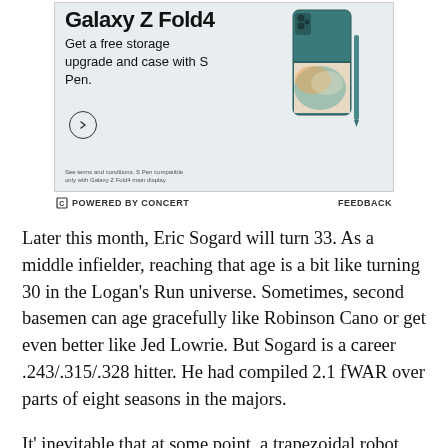[Figure (advertisement): Samsung Galaxy Z Fold4 advertisement showing phone with S Pen. Text: 'Galaxy Z Fold4 - Get a free storage upgrade and case with S Pen.' with a circular arrow button and disclaimer text.]
POWERED BY CONCERT    FEEDBACK
Later this month, Eric Sogard will turn 33. As a middle infielder, reaching that age is a bit like turning 30 in the Logan's Run universe. Sometimes, second basemen can age gracefully like Robinson Cano or get even better like Jed Lowrie. But Sogard is a career .243/.315/.328 hitter. He had compiled 2.1 fWAR over parts of eight seasons in the majors.
It' inevitable that at some point, a trapezoidal robot will come to take him away and reincarnate him into another fringey second baseman with high contact